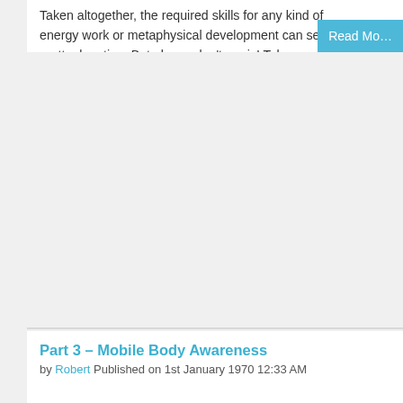Taken altogether, the required skills for any kind of energy work or metaphysical development can seem pretty daunting. But please don't panic! Taken one at a time the individual skills needed for development are simple. They are all very easy to learn and do when explained and taught in just the right way. Anyone can learn them! The following development units are carefully structured to present everything in just the right order to make the learning process as easy and painless as possible.
No prior skills are required to begin with. I have designed the coming sections with the complete novice in mind, while also catering for the needs of intermediate and advanced students. Anyone can learn and use these techniques, even if they have never had any previous success with energy or development work. I say this without reservation. Some of the theories, techniques
Part 3 – Mobile Body Awareness
by Robert Published on 1st January 1970 12:33 AM